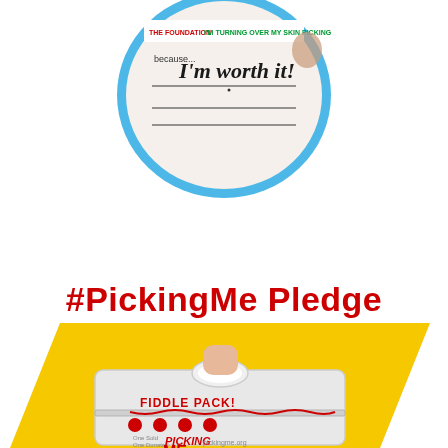[Figure (photo): A circular photo with a blue border showing a handwritten pledge card reading 'because... I'm worth it!' with a logo at top reading 'THE FOUNDATION - I'M A TURNING OVER MY SKIN PICKING']
#PickingMe Pledge
[Figure (photo): A photo of a clear plastic Fiddle Pack bag with a handle hole at top, branded with red text 'FIDDLE PACK!' and the Picking ME logo. The bag has a zipper and red polka dots. A hand is holding it from the top handle. The photo is framed inside a yellow parallelogram/diamond shape border.]